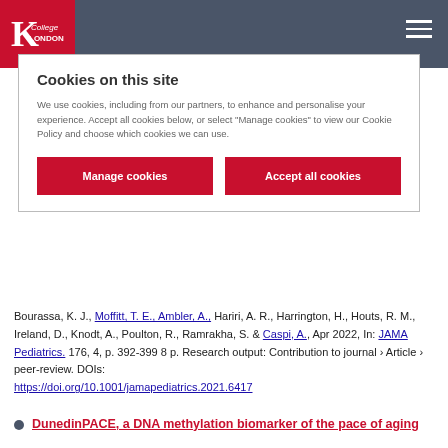King's College London
Cookies on this site

We use cookies, including from our partners, to enhance and personalise your experience. Accept all cookies below, or select "Manage cookies" to view our Cookie Policy and choose which cookies we can use.

[Manage cookies] [Accept all cookies]
Bourassa, K. J., Moffitt, T. E., Ambler, A., Hariri, A. R., Harrington, H., Houts, R. M., Ireland, D., Knodt, A., Poulton, R., Ramrakha, S. & Caspi, A., Apr 2022, In: JAMA Pediatrics. 176, 4, p. 392-399 8 p. Research output: Contribution to journal › Article › peer-review. DOIs: https://doi.org/10.1001/jamapediatrics.2021.6417
DunedinPACE, a DNA methylation biomarker of the pace of aging